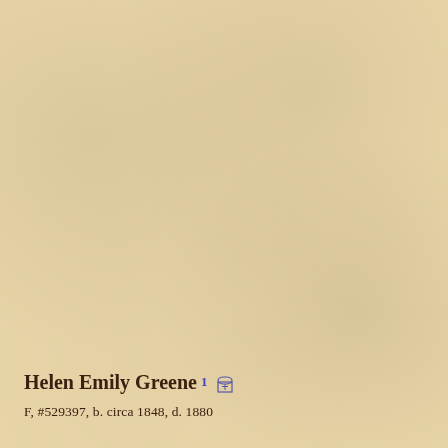Helen Emily Greene¹ [gravestone icon]
F, #529397, b. circa 1848, d. 1880